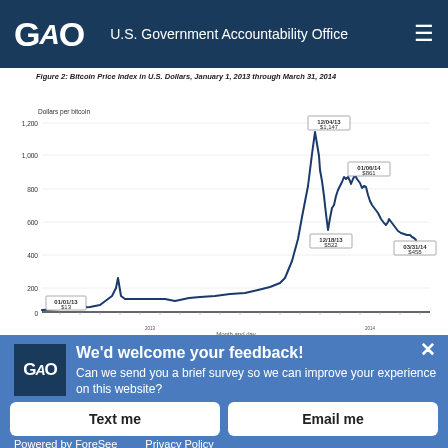GAO U.S. Government Accountability Office
Figure 2: Bitcoin Price Index in U.S. Dollars, January 1, 2013 through March 31, 2014
[Figure (continuous-plot): Line chart showing Bitcoin Price Index in U.S. Dollars from January 1, 2013 through March 31, 2014. The price starts at $13 on 01/01/13, rises dramatically to a peak of $1,147 on 12/04/13, drops to $522 on 12/18/13, recovers to $861 on 01/06/14, then declines to $458 on 03/31/14. Y-axis shows Dollars per bitcoin from 0 to 1,200. X-axis shows Month and day.]
We'd welcome your feedback! Can we send you a brief survey so we can improve your experience on this website?
Text me
Email me
Powered by ForeSee   Privacy Policy